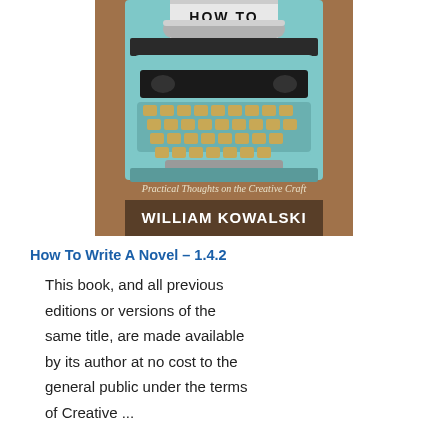[Figure (illustration): Book cover of 'How To Write A Novel' by William Kowalski showing a vintage teal typewriter with paper inserted. Subtitle reads 'Practical Thoughts on the Creative Craft'. Author name 'WILLIAM KOWALSKI' in bold white text at bottom of cover.]
How To Write A Novel – 1.4.2
This book, and all previous editions or versions of the same title, are made available by its author at no cost to the general public under the terms of Creative ...